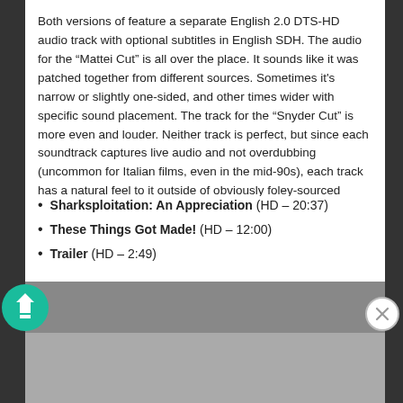Both versions of feature a separate English 2.0 DTS-HD audio track with optional subtitles in English SDH. The audio for the “Mattei Cut” is all over the place. It sounds like it was patched together from different sources. Sometimes it's narrow or slightly one-sided, and other times wider with specific sound placement. The track for the “Snyder Cut” is more even and louder. Neither track is perfect, but since each soundtrack captures live audio and not overdubbing (uncommon for Italian films, even in the mid-90s), each track has a natural feel to it outside of obviously foley-sourced sound effects.

The following extras are also included:
Sharksploitation: An Appreciation (HD – 20:37)
These Things Got Made! (HD – 12:00)
Trailer (HD – 2:49)